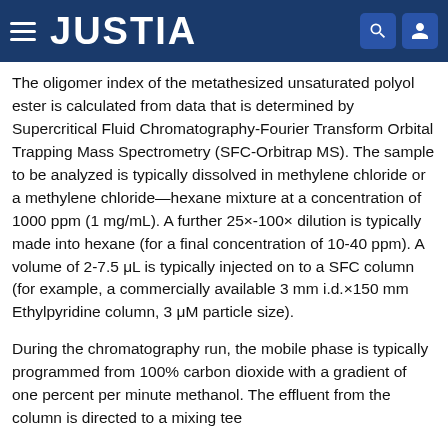JUSTIA
The oligomer index of the metathesized unsaturated polyol ester is calculated from data that is determined by Supercritical Fluid Chromatography-Fourier Transform Orbital Trapping Mass Spectrometry (SFC-Orbitrap MS). The sample to be analyzed is typically dissolved in methylene chloride or a methylene chloride—hexane mixture at a concentration of 1000 ppm (1 mg/mL). A further 25×-100× dilution is typically made into hexane (for a final concentration of 10-40 ppm). A volume of 2-7.5 μL is typically injected on to a SFC column (for example, a commercially available 3 mm i.d.×150 mm Ethylpyridine column, 3 μM particle size).
During the chromatography run, the mobile phase is typically programmed from 100% carbon dioxide with a gradient of one percent per minute methanol. The effluent from the column is directed to a mixing tee